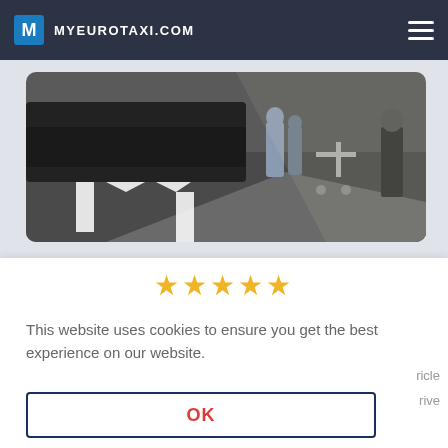MYEUROTAXI.COM
[Figure (photo): Aerial view of asphalt road/parking area with white painted markings and people with luggage trolley next to a dark vehicle]
[Figure (other): Five gold star rating]
This website uses cookies to ensure you get the best experience on our website.
OK